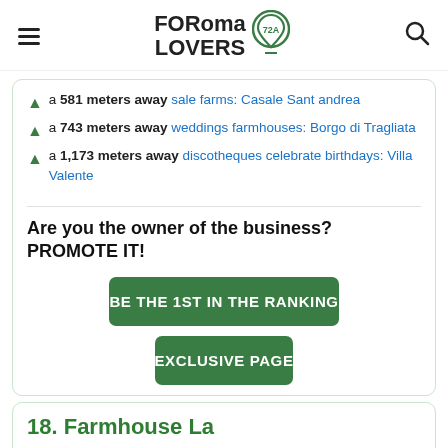FORoma LOVERS
a 581 meters away sale farms: Casale Sant andrea
a 743 meters away weddings farmhouses: Borgo di Tragliata
a 1,173 meters away discotheques celebrate birthdays: Villa Valente
Are you the owner of the business? PROMOTE IT!
BE THE 1ST IN THE RANKING
EXCLUSIVE PAGE
18. Farmhouse La